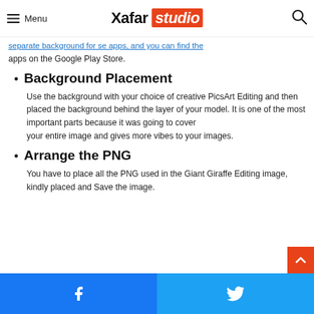Menu | Xafar studio [search]
separate background for se apps, and you can find the apps on the Google Play Store.
Background Placement
Use the background with your choice of creative PicsArt Editing and then placed the background behind the layer of your model. It is one of the most important parts because it was going to cover your entire image and gives more vibes to your images.
Arrange the PNG
You have to place all the PNG used in the Giant Giraffe Editing image, kindly placed and Save the image.
Facebook | Twitter